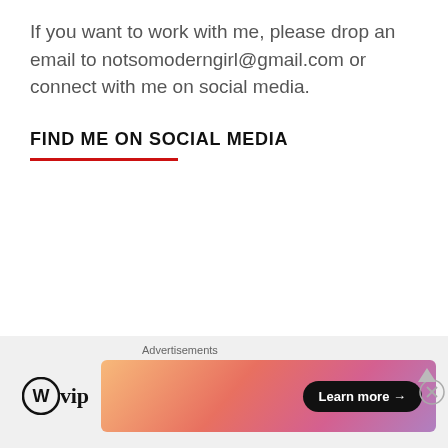If you want to work with me, please drop an email to notsomoderngirl@gmail.com or connect with me on social media.
FIND ME ON SOCIAL MEDIA
WANT TO READ MORE?
Advertisements
[Figure (logo): WordPress VIP logo with circle W icon and 'vip' text]
[Figure (other): Advertisement banner with gradient background (orange to pink to purple) and 'Learn more →' button]